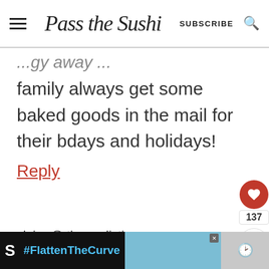Pass the Sushi — SUBSCRIBE
family always get some baked goods in the mail for their bdays and holidays!
Reply
claire @ the realistic nutritionist says
May 31, 2013 at 11:25 am
[Figure (screenshot): Footer advertisement banner: dark background with #FlattenTheCurve hashtag in blue, hand-washing image, and close button]
WHAT'S NEXT → Ultimate Cinnamon...